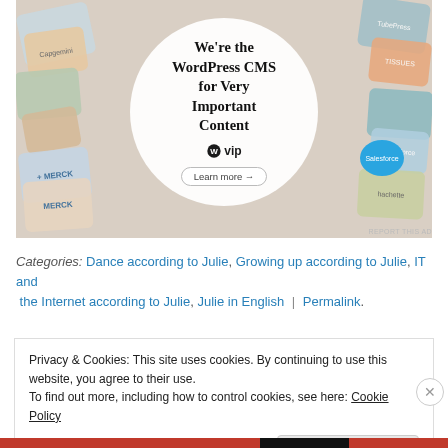[Figure (illustration): Advertisement for WordPress VIP CMS showing a circular badge with text 'We're the WordPress CMS for Very Important Content' with a WordPress VIP logo and 'Learn more' button, surrounded by colorful brand logo tiles including Merck, Capgemini, Hachette, Salesforce]
REPORT THIS AD
Categories: Dance according to Julie, Growing up according to Julie, IT and the Internet according to Julie, Julie in English | Permalink.
Privacy & Cookies: This site uses cookies. By continuing to use this website, you agree to their use.
To find out more, including how to control cookies, see here: Cookie Policy
Close and accept